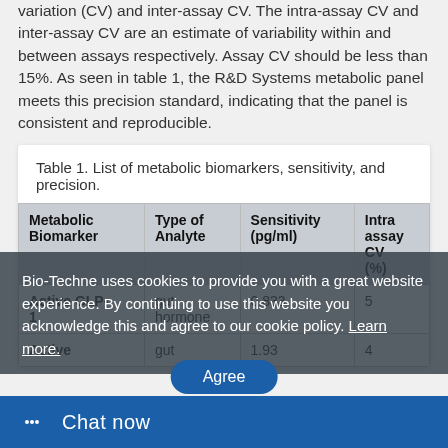variation (CV) and inter-assay CV. The intra-assay CV and inter-assay CV are an estimate of variability within and between assays respectively. Assay CV should be less than 15%. As seen in table 1, the R&D Systems metabolic panel meets this precision standard, indicating that the panel is consistent and reproducible.
Table 1. List of metabolic biomarkers, sensitivity, and precision.
| Metabolic Biomarker | Type of Analyte | Sensitivity (pg/ml) | Intra-assay CV (%) |
| --- | --- | --- | --- |
| Active GLP-1 | gut hormone | 0.833 | 5 |
| Active ... | gut ... | 1.93 | 4 |